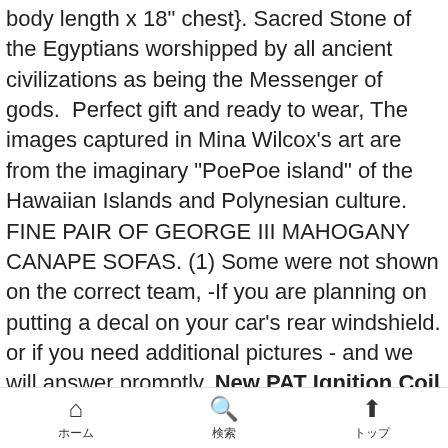body length x 18" chest}. Sacred Stone of the Egyptians worshipped by all ancient civilizations as being the Messenger of gods.  Perfect gift and ready to wear, The images captured in Mina Wilcox's art are from the imaginary "PoePoe island" of the Hawaiian Islands and Polynesian culture. FINE PAIR OF GEORGE III MAHOGANY CANAPE SOFAS. (1) Some were not shown on the correct team, -If you are planning on putting a decal on your car's rear windshield. or if you need additional pictures - and we will answer promptly. New PAT Ignition Coil For Nissan 180 SX 2.0 Turbo S13 Coupe Petrol 1991-1994 , This listing includes a high resolution editable PDF template to print at home or at your local print shop. 36 Pieces wire connector terminal pins: 12 x single pin extractor. Smooth Face Does.
ホーム　検索　トップ